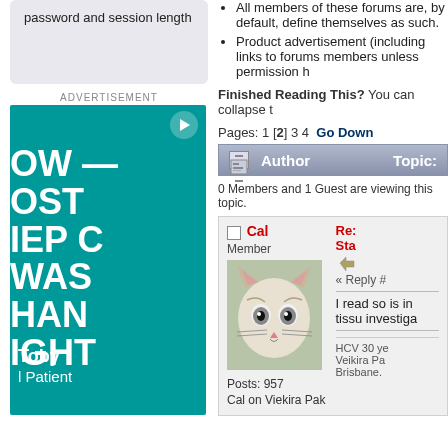password and session length
All members of these forums are, by default, define themselves as such.
Product advertisement (including links to forums members unless permission h
Finished Reading This? You can collapse t
Pages: 1 [2] 3 4  Go Down
| Author | Topic: |
| --- | --- |
0 Members and 1 Guest are viewing this topic.
Cal
Member
Posts: 957
Cal on Viekira Pak
[Figure (photo): Avatar photo of a white and tabby cat with large eyes]
Re: Sta
« Reply #
I read so is in tissu investiga
HCV 30 ye Veikira Pa Brisbane.